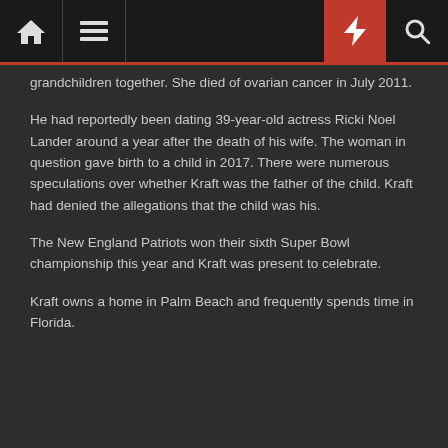[Navigation bar with home, menu, bolt, and search icons]
grandchildren together. She died of ovarian cancer in July 2011.
He had reportedly been dating 39-year-old actress Ricki Noel Lander around a year after the death of his wife. The woman in question gave birth to a child in 2017. There were numerous speculations over whether Kraft was the father of the child. Kraft had denied the allegations that the child was his.
The New England Patriots won their sixth Super Bowl championship this year and Kraft was present to celebrate.
Kraft owns a home in Palm Beach and frequently spends time in Florida.